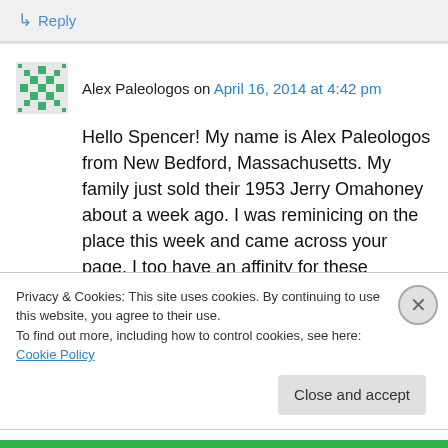↳ Reply
Alex Paleologos on April 16, 2014 at 4:42 pm
Hello Spencer! My name is Alex Paleologos from New Bedford, Massachusetts. My family just sold their 1953 Jerry Omahoney about a week ago. I was reminicing on the place this week and came across your page. I too have an affinity for these stainless steel beauties. The Shawmut Diner has been a big part of our family and
Privacy & Cookies: This site uses cookies. By continuing to use this website, you agree to their use. To find out more, including how to control cookies, see here: Cookie Policy
Close and accept